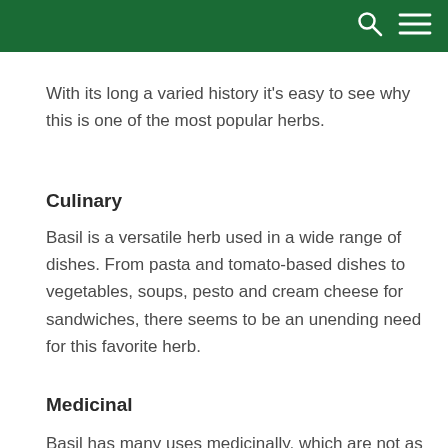With its long a varied history it's easy to see why this is one of the most popular herbs.
Culinary
Basil is a versatile herb used in a wide range of dishes. From pasta and tomato-based dishes to vegetables, soups, pesto and cream cheese for sandwiches, there seems to be an unending need for this favorite herb.
Medicinal
Basil has many uses medicinally, which are not as well